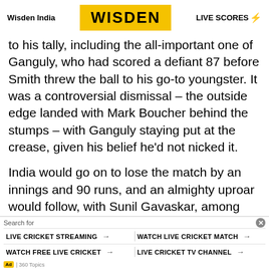Wisden India | WISDEN | LIVE SCORES
to his tally, including the all-important one of Ganguly, who had scored a defiant 87 before Smith threw the ball to his go-to youngster. It was a controversial dismissal – the outside edge landed with Mark Boucher behind the stumps – with Ganguly staying put at the crease, given his belief he'd not nicked it.
India would go on to lose the match by an innings and 90 runs, and an almighty uproar would follow, with Sunil Gavaskar, among the prominent voices accusing the team of being distracted with the build-up surrounding the inaugural IPL that was to start in a few